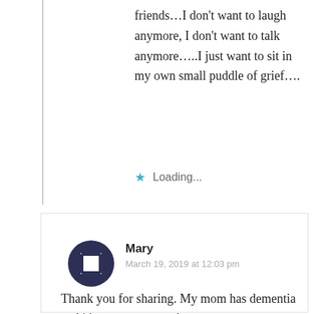friends…I don't want to laugh anymore, I don't want to talk anymore…..I just want to sit in my own small puddle of grief….
Loading...
Mary
March 19, 2019 at 12:03 pm
Thank you for sharing. My mom has dementia and it's not easy to see her